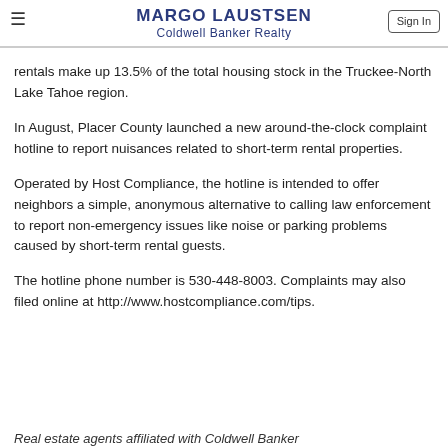MARGO LAUSTSEN
Coldwell Banker Realty
rentals make up 13.5% of the total housing stock in the Truckee-North Lake Tahoe region.
In August, Placer County launched a new around-the-clock complaint hotline to report nuisances related to short-term rental properties.
Operated by Host Compliance, the hotline is intended to offer neighbors a simple, anonymous alternative to calling law enforcement to report non-emergency issues like noise or parking problems caused by short-term rental guests.
The hotline phone number is 530-448-8003. Complaints may also filed online at http://www.hostcompliance.com/tips.
Real estate agents affiliated with Coldwell Banker